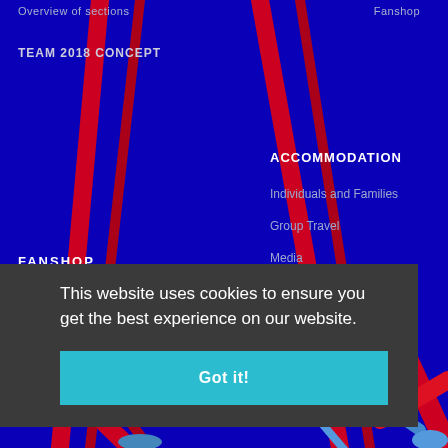Overview of sections
Fanshop
TEAM 2018 CONCEPT
[Figure (illustration): Abstract geometric network diagram with red and blue diagonal lines and nodes on a dark blue background]
ACCOMMODATION
Individuals and Families
Group Travel
Media
FANSHOP
This website uses cookies to ensure you get the best experience on our website.
Got it!